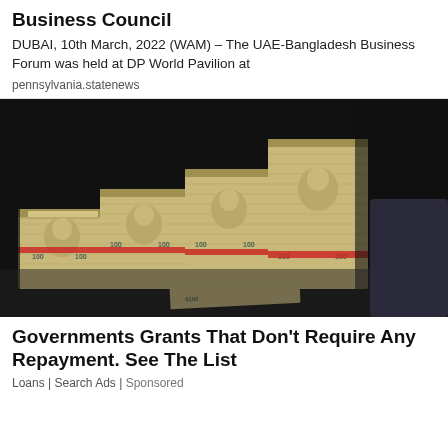Business Council
DUBAI, 10th March, 2022 (WAM) – The UAE-Bangladesh Business Forum was held at DP World Pavilion at
pennsylvania.statenews
[Figure (photo): Stacks of US $100 bills bundled together in a dark bag or surface, arranged in a staircase pattern of increasing height]
Governments Grants That Don't Require Any Repayment. See The List
Loans | Search Ads | Sponsored